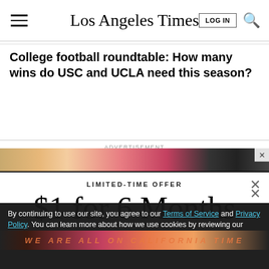Los Angeles Times
College football roundtable: How many wins do USC and UCLA need this season?
ADVERTISEMENT
[Figure (screenshot): Advertisement banner with gradient colors (tan, pink, dark)]
LIMITED-TIME OFFER
$1 for 6 Months
SUBSCRIBE NOW
By continuing to use our site, you agree to our Terms of Service and Privacy Policy. You can learn more about how we use cookies by reviewing our Privacy Policy. Close